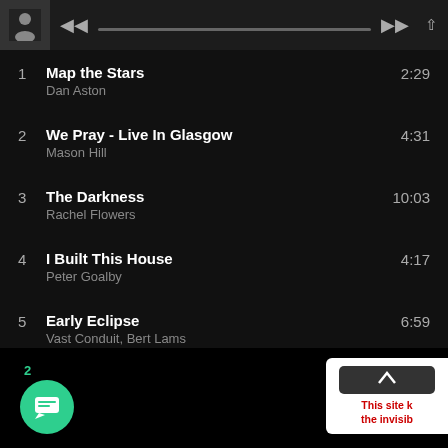[Figure (screenshot): Music player bar with album thumbnail, playback controls, progress bar, and share icon]
1  Map the Stars  Dan Aston  2:29
2  We Pray - Live In Glasgow  Mason Hill  4:31
3  The Darkness  Rachel Flowers  10:03
4  I Built This House  Peter Goalby  4:17
5  Early Eclipse  Vast Conduit, Bert Lams  6:59
6  Elations  Anyone  9:37
[Figure (screenshot): Chat button with badge showing 2 unread messages, and a popup box with red text 'This site k... the invisibl...']